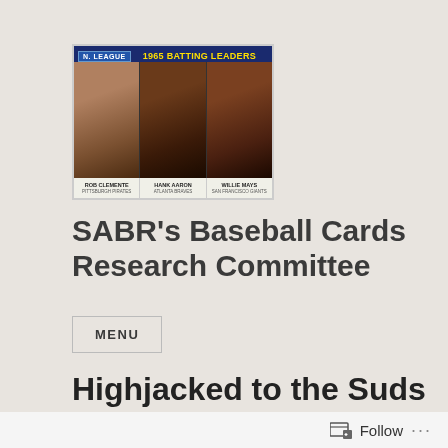[Figure (photo): 1966 Topps baseball card showing '1965 BATTING LEADERS' with N. LEAGUE badge. Three player portraits: ROB CLEMENTE (Pittsburgh Pirates), HANK AARON (Atlanta Braves), WILLIE MAYS (San Francisco Giants).]
SABR's Baseball Cards Research Committee
MENU
Highjacked to the Suds Ci…